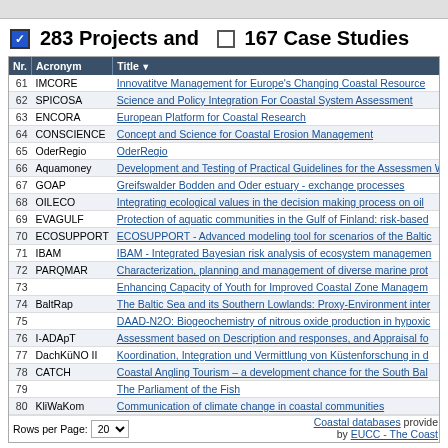✔ 283 Projects and □ 167 Case Studies
| Nr. | Acronym | ▼ Title |
| --- | --- | --- |
| 61 | IMCORE | Innovatitve Management for Europe's Changing Coastal Resource |
| 62 | SPICOSA | Science and Policy Integration For Coastal System Assessment |
| 63 | ENCORA | European Platform for Coastal Research |
| 64 | CONSCIENCE | Concept and Science for Coastal Erosion Management |
| 65 | OderRegio | OderRegio |
| 66 | Aquamoney | Development and Testing of Practical Guidelines for the Assessment WFD |
| 67 | GOAP | Greifswalder Bodden and Oder estuary - exchange processes |
| 68 | OILECO | Integrating ecological values in the decision making process on oil |
| 69 | EVAGULF | Protection of aquatic communities in the Gulf of Finland: risk-based |
| 70 | ECOSUPPORT | ECOSUPPORT - Advanced modeling tool for scenarios of the Baltic |
| 71 | IBAM | IBAM - Integrated Bayesian risk analysis of ecosystem management |
| 72 | PARQMAR | Characterization, planning and management of diverse marine prot |
| 73 |  | Enhancing Capacity of Youth for Improved Coastal Zone Managem |
| 74 | BaltRap | The Baltic Sea and its Southern Lowlands: Proxy-Environment inter |
| 75 |  | DAAD-N2O: Biogeochemistry of nitrous oxide production in hypoxic |
| 76 | I-ADApT | Assessment based on Description and responses, and Appraisal fo |
| 77 | DachKüNO II | Koordination, Integration und Vermittlung von Küstenforschung in d |
| 78 | CATCH | Coastal Angling Tourism – a development chance for the South Bal |
| 79 |  | The Parliament of the Fish |
| 80 | KliWaKom | Communication of climate change in coastal communities |
Rows per Page: 20
Coastal databases provided by EUCC - The Coast